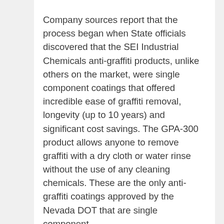Company sources report that the process began when State officials discovered that the SEI Industrial Chemicals anti-graffiti products, unlike others on the market, were single component coatings that offered incredible ease of graffiti removal, longevity (up to 10 years) and significant cost savings. The GPA-300 product allows anyone to remove graffiti with a dry cloth or water rinse without the use of any cleaning chemicals. These are the only anti-graffiti coatings approved by the Nevada DOT that are single component.
The Graffiti Proofer coatings are sold by or can be applied by registered affiliate entities or certified applicators. SEI Industrial Chemicals offers anti-graffiti, anti-mold, anti-slip and restorative coating products and services.
The Graffiti Proofer coatings are clear, UV stable, chemical and abrasion resistant and provide true non-stick surfaces that resist paint, permanent markers, stickers and adhesives. The products incorporate a unique nanotechnological constituent that both penetrates